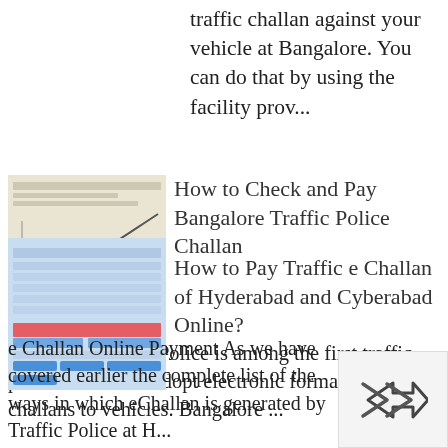traffic challan against your vehicle at Bangalore. You can do that by using the facility prov...
[Figure (screenshot): Thumbnail image of a chart about vehicles in Bangalore]
How to Check and Pay Bangalore Traffic Police Challan
Bangalore Traffic Police is among the first traffic police in India to adopt electronic format of issuing challans to vehicles. Bangalore ...
[Figure (screenshot): Thumbnail screenshot of Hyderabad traffic e-challan payment page with blue and red interface elements]
How to Pay Traffic e Challan of Hyderabad and Cyberabad Online?
e Challan Online Payment As we have covered earlier the complete list of the ways in which eChallan is generated by Traffic Police at H...